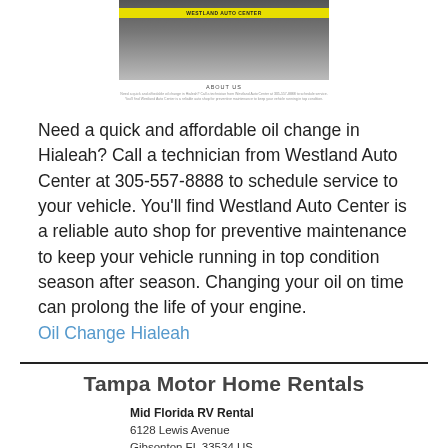[Figure (screenshot): Screenshot of Westland Auto Center website showing a building facade with yellow banner text and an About Us section with descriptive text]
Need a quick and affordable oil change in Hialeah? Call a technician from Westland Auto Center at 305-557-8888 to schedule service to your vehicle. You'll find Westland Auto Center is a reliable auto shop for preventive maintenance to keep your vehicle running in top condition season after season. Changing your oil on time can prolong the life of your engine. Oil Change Hialeah
Tampa Motor Home Rentals
Mid Florida RV Rental
6128 Lewis Avenue
Gibsonton FL 33534 US
813-494-8501
midfloridarvental.com